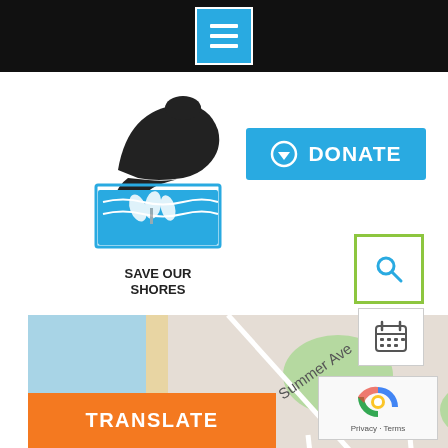[Figure (screenshot): Black top navigation bar with a hamburger menu button (three white horizontal lines on a blue square)]
[Figure (logo): Save Our Shores logo: black silhouette of a cliff with tree and ocean waves, with text SAVE OUR SHORES]
[Figure (other): Cyan/blue DONATE button with a down-arrow circle icon]
[Figure (other): Search icon button in a yellow-green square border]
[Figure (map): Google Maps screenshot showing Seascape Beach area with Summer Ave, Seascape Blvd, San Andreas, locations marked including er Beach and scape Beach Resort]
[Figure (other): Calendar icon button]
[Figure (other): reCAPTCHA widget with Privacy - Terms text]
[Figure (other): Orange TRANSLATE button]